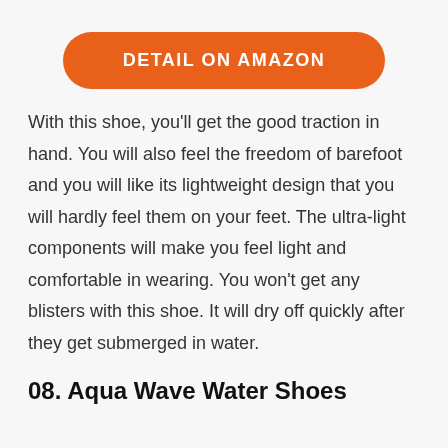[Figure (other): Orange rounded button with white bold text reading DETAIL ON AMAZON]
With this shoe, you'll get the good traction in hand. You will also feel the freedom of barefoot and you will like its lightweight design that you will hardly feel them on your feet. The ultra-light components will make you feel light and comfortable in wearing. You won't get any blisters with this shoe. It will dry off quickly after they get submerged in water.
08. Aqua Wave Water Shoes